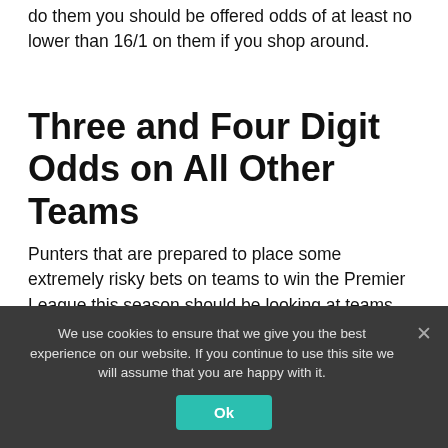do them you should be offered odds of at least no lower than 16/1 on them if you shop around.
Three and Four Digit Odds on All Other Teams
Punters that are prepared to place some extremely risky bets on teams to win the Premier League this season should be looking at teams such as Chelsea to back, for they are next in the betting but can be backed at huge odds right now of 100/1.
We use cookies to ensure that we give you the best experience on our website. If you continue to use this site we will assume that you are happy with it.